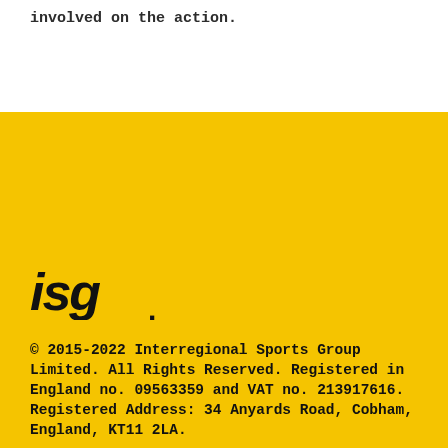involved on the action.
[Figure (logo): ISG logo in black italic bold text with a dot accent, on yellow background]
© 2015-2022 Interregional Sports Group Limited. All Rights Reserved. Registered in England no. 09563359 and VAT no. 213917616. Registered Address: 34 Anyards Road, Cobham, England, KT11 2LA.
ISG EUROPA S.R.L.registered in Italy no.MI-2112435 and IVA no.09774510961.
ISG PRODUCTIONS LTD registered in England no.06905196 and VAT no.980922594.
ISG Graphics s.r.o.registered in Czech Republic no.07278010 and VAT no.CZ07278010.
ISG Connect LTD registered in England no.11200165 and VAT no.289317854.
Terms & Conditions